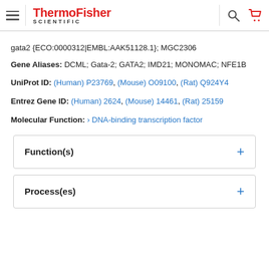ThermoFisher SCIENTIFIC
gata2 {ECO:0000312|EMBL:AAK51128.1}; MGC2306
Gene Aliases: DCML; Gata-2; GATA2; IMD21; MONOMAC; NFE1B
UniProt ID: (Human) P23769, (Mouse) O09100, (Rat) Q924Y4
Entrez Gene ID: (Human) 2624, (Mouse) 14461, (Rat) 25159
Molecular Function: > DNA-binding transcription factor
Function(s)
Process(es)